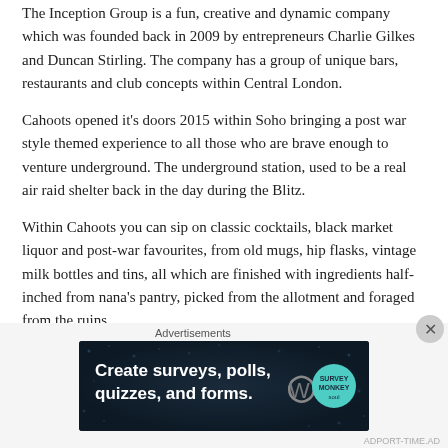The Inception Group is a fun, creative and dynamic company which was founded back in 2009 by entrepreneurs Charlie Gilkes and Duncan Stirling. The company has a group of unique bars, restaurants and club concepts within Central London.
Cahoots opened it's doors 2015 within Soho bringing a post war style themed experience to all those who are brave enough to venture underground. The underground station, used to be a real air raid shelter back in the day during the Blitz.
Within Cahoots you can sip on classic cocktails, black market liquor and post-war favourites, from old mugs, hip flasks, vintage milk bottles and tins, all which are finished with ingredients half-inched from nana's pantry, picked from the allotment and foraged from the ruins.
At Cahoots spirits are high and the drinks never run dry, with plenty of dancing and sing-a-longs around an old piano.
Presently Cahoots Station at 5 Kingly Street is closed (will reopen 17 May)
Advertisements
[Figure (illustration): Dark blue advertisement banner reading 'Create surveys, polls, quizzes, and forms.' with WordPress and SurveyMonkey logos]